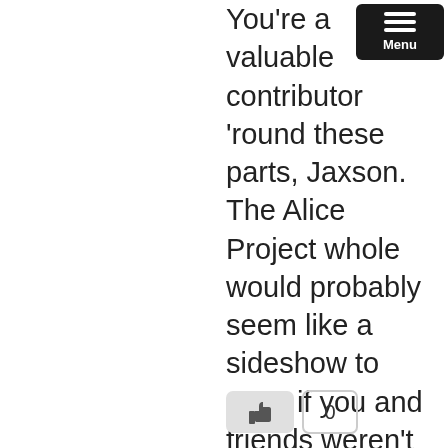[Figure (other): Menu button in top right corner — dark rounded rectangle with three white horizontal lines and 'Menu' label]
You're a valuable contributor 'round these parts, Jaxson. The Alice Project whole would probably seem like a sideshow to most if you and friends weren't providing updates that are, frankly, tiring to try to keep up with sans the assistance (so much video!). Thanks for being one of the people that I lovingly refer to as the resident weirdos.
[Figure (other): A like/thumbs-up button (grey rounded rectangle with thumbs-up icon) and a count badge showing '0']